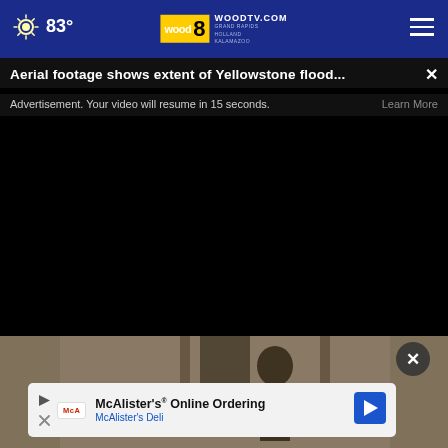[Figure (screenshot): WOODTV.com news website navigation bar with weather (83°), WOOD TV8 logo, and hamburger menu on blue background]
Aerial footage shows extent of Yellowstone flood...
Advertisement. Your video will resume in 15 seconds.
Learn More
[Figure (photo): Black video player area for WOODTV news segment about Yellowstone flooding]
[Figure (photo): Partial photo visible below video player showing a person outdoors near stone architecture]
[Figure (infographic): McAlister's Online Ordering advertisement banner with logo and McAlister's Deli text]